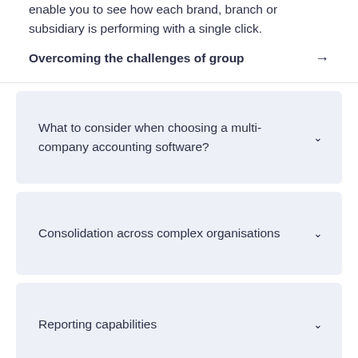enable you to see how each brand, branch or subsidiary is performing with a single click.
Overcoming the challenges of group →
What to consider when choosing a multi-company accounting software? ∨
Consolidation across complex organisations ∨
Reporting capabilities ∨